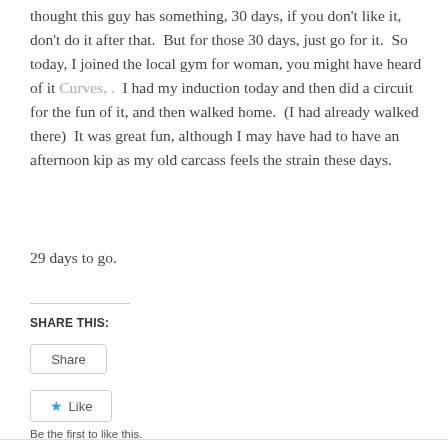thought this guy has something, 30 days, if you don't like it, don't do it after that.  But for those 30 days, just go for it.  So today, I joined the local gym for woman, you might have heard of it Curves, .  I had my induction today and then did a circuit for the fun of it, and then walked home.  (I had already walked there)  It was great fun, although I may have had to have an afternoon kip as my old carcass feels the strain these days.
29 days to go.
SHARE THIS:
Share
Like
Be the first to like this.